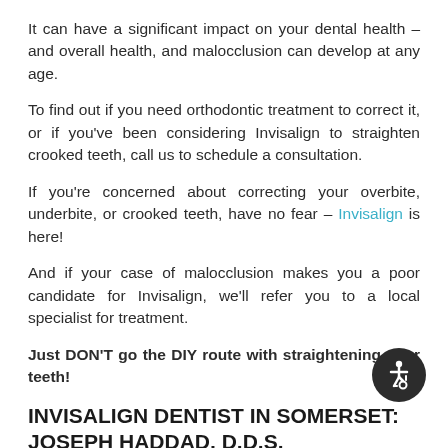It can have a significant impact on your dental health – and overall health, and malocclusion can develop at any age.
To find out if you need orthodontic treatment to correct it, or if you've been considering Invisalign to straighten crooked teeth, call us to schedule a consultation.
If you're concerned about correcting your overbite, underbite, or crooked teeth, have no fear – Invisalign is here!
And if your case of malocclusion makes you a poor candidate for Invisalign, we'll refer you to a local specialist for treatment.
Just DON'T go the DIY route with straightening your teeth!
INVISALIGN DENTIST IN SOMERSET: JOSEPH HADDAD, D.D.S.
[Figure (illustration): Circular dark accessibility icon with wheelchair symbol in white]